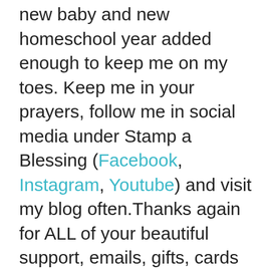new baby and new homeschool year added enough to keep me on my toes. Keep me in your prayers, follow me in social media under Stamp a Blessing (Facebook, Instagram, Youtube) and visit my blog often.Thanks again for ALL of your beautiful support, emails, gifts, cards and so much you share with me. You are my blessings!